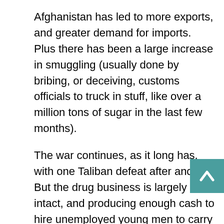Afghanistan has led to more exports, and greater demand for imports. Plus there has been a large increase in smuggling (usually done by bribing, or deceiving, customs officials to truck in stuff, like over a million tons of sugar in the last few months).
The war continues, as it long has, with one Taliban defeat after another. But the drug business is largely intact, and producing enough cash to hire unemployed young men to carry rifles for the Taliban. These gangs of enforcers wander about, in pickup trucks and SUVs (another major way to spend drug profits), terrorizing Afghans who have not been cooperative. Later this year, the Taliban know more U.S. combat troops will show up, and they are not looking forward to that. On both sides of the border, the Taliban lost nearly 10,000 men last year. They killed fewer than a thousand of the enemy (most of them Pakistani troops and police.)